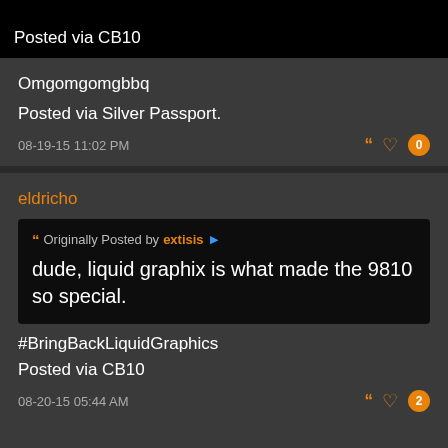Posted via CB10
Omgomgomgbbq
Posted via Silver Passport.
08-19-15 11:02 PM
eldricho
Originally Posted by extisis
dude, liquid graphix is what made the 9810 so special.
#BringBackLiquidGraphics
Posted via CB10
08-20-15 05:44 AM